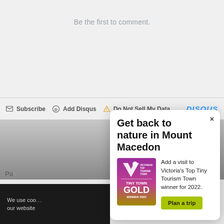Be the first to comment.
Subscribe  Add Disqus  Do Not Sell My Data  DISQUS
We use coo our website
Get back to nature in Mount Macedon
Add a visit to Victoria's Top Tiny Tourism Town winner for 2022.
[Figure (logo): Victorian Top Tourism Town - Tiny Town Gold Winner 2022 award badge with purple to gold gradient background and white logo]
Plan a trip